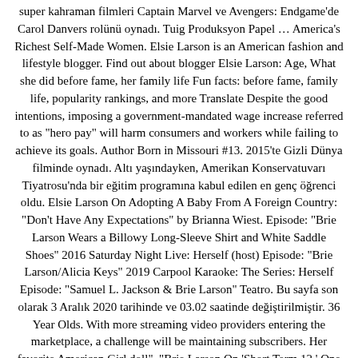super kahraman filmleri Captain Marvel ve Avengers: Endgame'de Carol Danvers rolünü oynadı. Tuig Produksyon Papel … America's Richest Self-Made Women. Elsie Larson is an American fashion and lifestyle blogger. Find out about blogger Elsie Larson: Age, What she did before fame, her family life Fun facts: before fame, family life, popularity rankings, and more Translate Despite the good intentions, imposing a government-mandated wage increase referred to as "hero pay" will harm consumers and workers while failing to achieve its goals. Author Born in Missouri #13. 2015'te Gizli Dünya filminde oynadı. Altı yaşındayken, Amerikan Konservatuvarı Tiyatrosu'nda bir eğitim programına kabul edilen en genç öğrenci oldu. Elsie Larson On Adopting A Baby From A Foreign Country: "Don't Have Any Expectations" by Brianna Wiest. Episode: "Brie Larson Wears a Billowy Long-Sleeve Shirt and White Saddle Shoes" 2016 Saturday Night Live: Herself (host) Episode: "Brie Larson/Alicia Keys" 2019 Carpool Karaoke: The Series: Herself Episode: "Samuel L. Jackson & Brie Larson" Teatro. Bu sayfa son olarak 3 Aralık 2020 tarihinde ve 03.02 saatinde değiştirilmiştir. 36 Year Olds. With more streaming video providers entering the marketplace, a challenge will be maintaining subscribers. Her favorite American Girl doll", "Brie Larson On 'Short Term 12,' One of the Year's Best Films", "Brie Larson – The 25 Best Actresses in Their 20s", "Brie Larson Is a New Breed of Reluctant Hollywood It Girl", "Brie Larson is No Longer Engaged to Phantom Planet Lead Singer", En İyi Kadın Oyuncu Altın Küre